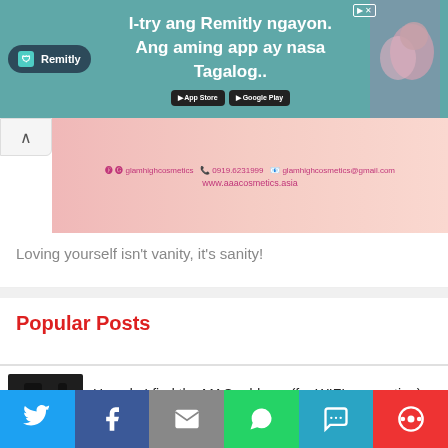[Figure (screenshot): Remitly advertisement banner with teal background, logo, Tagalog text, app store buttons, and photo of people]
[Figure (photo): Glamhigh cosmetics pink promotional image with contact info and website www.aaacosmetics.asia]
Loving yourself isn't vanity, it's sanity!
Popular Posts
[Figure (photo): Thumbnail image of phone/device for MAC address article]
How do I find the MAC address (for WIFI connection) on my computer?
[Figure (screenshot): Thumbnail for Local Brand article]
Local Brand Makes Sabon Refilling
[Figure (screenshot): Social share bar with Twitter, Facebook, Email, WhatsApp, SMS, and More buttons]